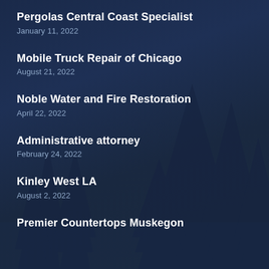Pergolas Central Coast Specialist
January 11, 2022
Mobile Truck Repair of Chicago
August 21, 2022
Noble Water and Fire Restoration
April 22, 2022
Administrative attorney
February 24, 2022
Kinley West LA
August 2, 2022
Premier Countertops Muskegon